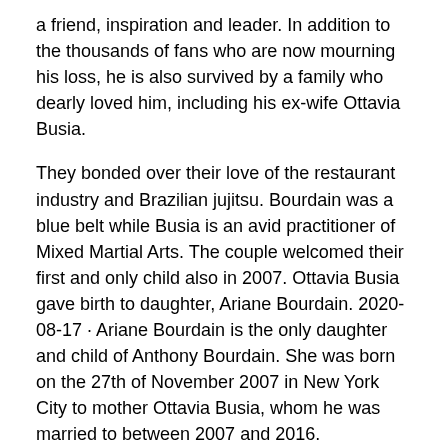a friend, inspiration and leader. In addition to the thousands of fans who are now mourning his loss, he is also survived by a family who dearly loved him, including his ex-wife Ottavia Busia.
They bonded over their love of the restaurant industry and Brazilian jujitsu. Bourdain was a blue belt while Busia is an avid practitioner of Mixed Martial Arts. The couple welcomed their first and only child also in 2007. Ottavia Busia gave birth to daughter, Ariane Bourdain. 2020-08-17 · Ariane Bourdain is the only daughter and child of Anthony Bourdain. She was born on the 27th of November 2007 in New York City to mother Ottavia Busia, whom he was married to between 2007 and 2016. Kopa lagenhet utomlands